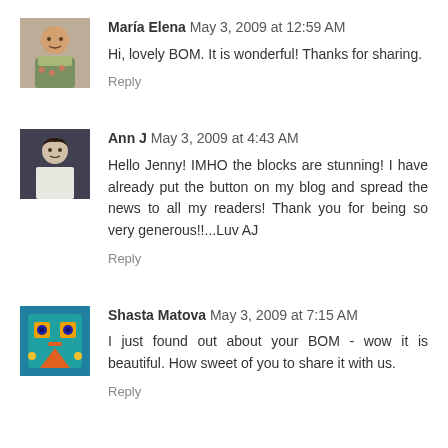[Figure (photo): Avatar photo of María Elena - woman in floral clothing]
María Elena May 3, 2009 at 12:59 AM
Hi, lovely BOM. It is wonderful! Thanks for sharing.
Reply
[Figure (photo): Avatar photo of Ann J - person in white clothing]
Ann J May 3, 2009 at 4:43 AM
Hello Jenny! IMHO the blocks are stunning! I have already put the button on my blog and spread the news to all my readers! Thank you for being so very generous!!...Luv AJ
Reply
[Figure (illustration): Avatar image for Shasta Matova - colorful illustration with orange and teal face]
Shasta Matova May 3, 2009 at 7:15 AM
I just found out about your BOM - wow it is beautiful. How sweet of you to share it with us.
Reply